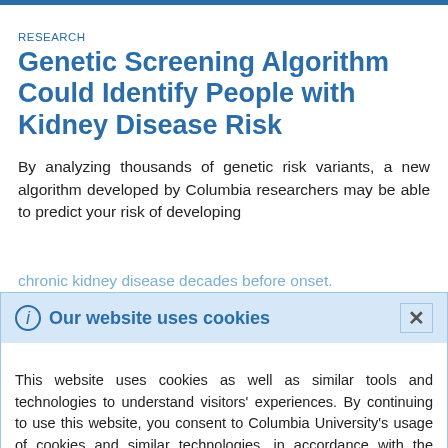RESEARCH
Genetic Screening Algorithm Could Identify People with Kidney Disease Risk
By analyzing thousands of genetic risk variants, a new algorithm developed by Columbia researchers may be able to predict your risk of developing chronic kidney disease decades before onset.
Our website uses cookies
This website uses cookies as well as similar tools and technologies to understand visitors' experiences. By continuing to use this website, you consent to Columbia University's usage of cookies and similar technologies, in accordance with the Columbia University Website Cookie Notice.